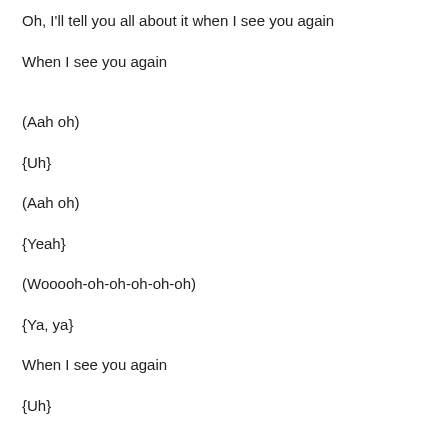Oh, I'll tell you all about it when I see you again
When I see you again
(Aah oh)
{Uh}
(Aah oh)
{Yeah}
(Wooooh-oh-oh-oh-oh-oh)
{Ya, ya}
When I see you again
{Uh}